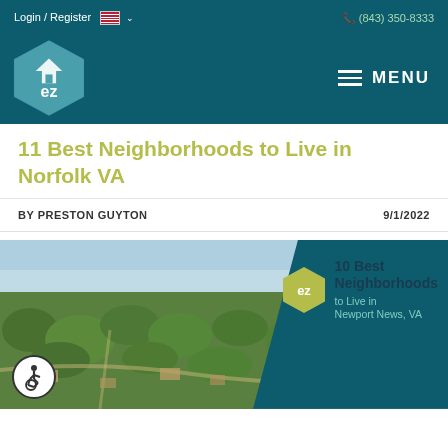Login / Register   (843) 350-8333
[Figure (logo): EZ home logo hexagon on teal header with MENU button]
11 Best Neighborhoods to Live in Norfolk VA
BY PRESTON GUYTON   9/1/2022
[Figure (photo): Aerial photo of Norfolk VA neighborhood with teal overlay and text: 10 Best Neighborhoods to Live in Newport News, VA]